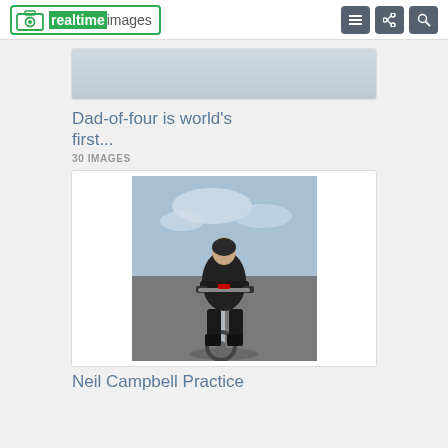[Figure (logo): Realtime Images logo with camera icon in green border]
[Figure (screenshot): Navigation icons: hamburger menu, share, and search buttons in dark grey]
[Figure (photo): Partially visible top card image, cropped]
Dad-of-four is world's first...
30 IMAGES
[Figure (photo): Neil Campbell on a motorcycle on a runway, wearing black racing leathers, leaning over the handlebars]
Neil Campbell Practice